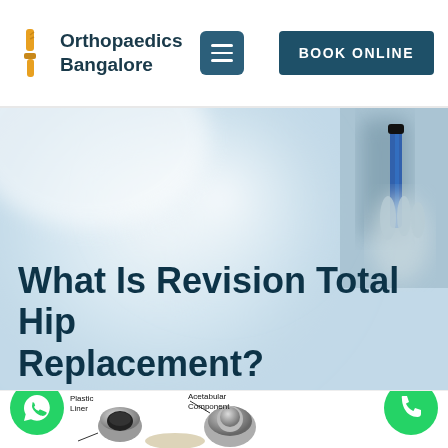Orthopaedics Bangalore | BOOK ONLINE
[Figure (photo): Hero banner image showing blurred medical/surgical background with blue tool visible top right, light blue and white tones]
What Is Revision Total Hip Replacement?
[Figure (illustration): Partial hip replacement diagram showing Plastic Liner, Acetabular Component labels with arrows pointing to metallic hip implant components, with WhatsApp and phone call buttons overlaid]